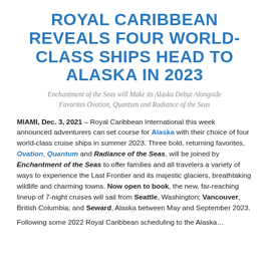ROYAL CARIBBEAN REVEALS FOUR WORLD-CLASS SHIPS HEAD TO ALASKA IN 2023
Enchantment of the Seas will Make its Alaska Debut Alongside Favorites Ovation, Quantum and Radiance of the Seas
MIAMI, Dec. 3, 2021 – Royal Caribbean International this week announced adventurers can set course for Alaska with their choice of four world-class cruise ships in summer 2023. Three bold, returning favorites, Ovation, Quantum and Radiance of the Seas, will be joined by Enchantment of the Seas to offer families and all travelers a variety of ways to experience the Last Frontier and its majestic glaciers, breathtaking wildlife and charming towns. Now open to book, the new, far-reaching lineup of 7-night cruises will sail from Seattle, Washington; Vancouver, British Columbia; and Seward, Alaska between May and September 2023.